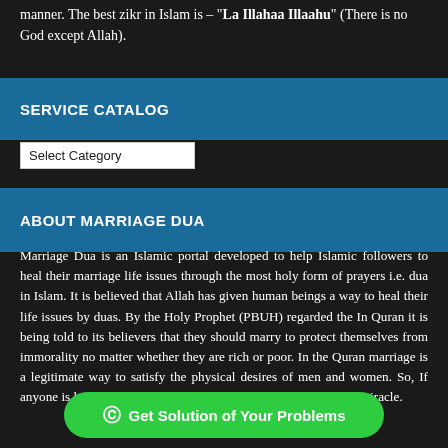manner. The best zikr in Islam is – "La Illahaa Illaahu" (There is no God except Allah).
SERVICE CATALOG
Select Category
ABOUT MARRIAGE DUA
Marriage Dua is an Islamic portal developed to help Islamic followers to heal their marriage life issues through the most holy form of prayers i.e. dua in Islam. It is believed that Allah has given human beings a way to heal their life issues by duas. By the Holy Prophet (PBUH) regarded the In Quran it is being told to its believers that they should marry to protect themselves from immorality no matter whether they are rich or poor. In the Quran marriage is a legitimate way to satisfy the physical desires of men and women. So, If anyone is looking to get married, good marriage proposals the a miracle.
Get Solution of Your Problems